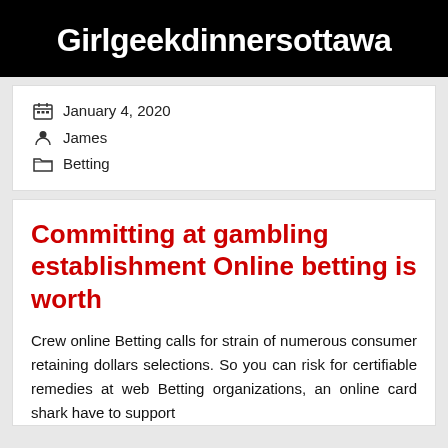Girlgeekdinnersottawa
January 4, 2020
James
Betting
Committing at gambling establishment Online betting is worth
Crew online Betting calls for strain of numerous consumer retaining dollars selections. So you can risk for certifiable remedies at web Betting organizations, an online card shark have to support